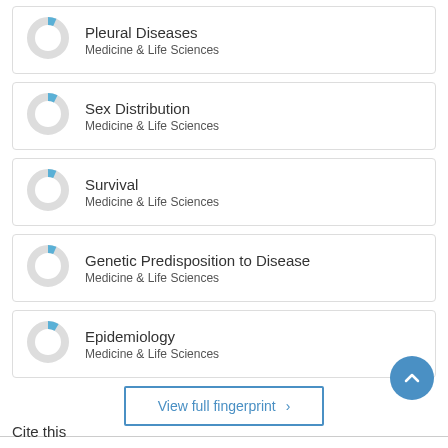Pleural Diseases — Medicine & Life Sciences
Sex Distribution — Medicine & Life Sciences
Survival — Medicine & Life Sciences
Genetic Predisposition to Disease — Medicine & Life Sciences
Epidemiology — Medicine & Life Sciences
View full fingerprint ›
Cite this